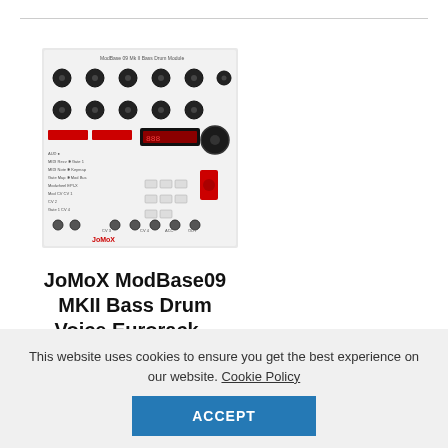[Figure (photo): Photo of JoMoX ModBase 09 MK II Bass Drum Module Eurorack synthesizer module with knobs, buttons, display, and patch points on a white/silver panel]
JoMoX ModBase09 MKII Bass Drum Voice Eurorack...
$399.00
This website uses cookies to ensure you get the best experience on our website. Cookie Policy
ACCEPT